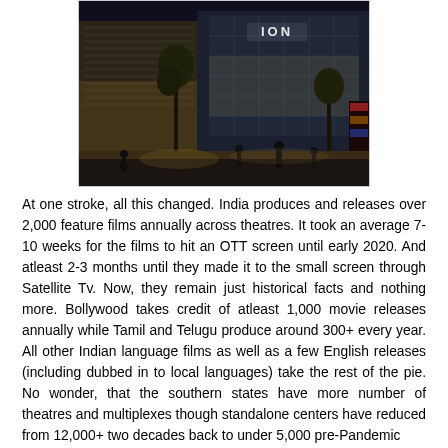[Figure (photo): Night-time exterior photograph of a cinema/mall complex with illuminated signage reading 'ION', people walking in the foreground, trees and lit facade visible.]
At one stroke, all this changed. India produces and releases over 2,000 feature films annually across theatres. It took an average 7-10 weeks for the films to hit an OTT screen until early 2020. And atleast 2-3 months until they made it to the small screen through Satellite Tv. Now, they remain just historical facts and nothing more. Bollywood takes credit of atleast 1,000 movie releases annually while Tamil and Telugu produce around 300+ every year. All other Indian language films as well as a few English releases (including dubbed in to local languages) take the rest of the pie. No wonder, that the southern states have more number of theatres and multiplexes though standalone centers have reduced from 12,000+ two decades back to under 5,000 pre-Pandemic